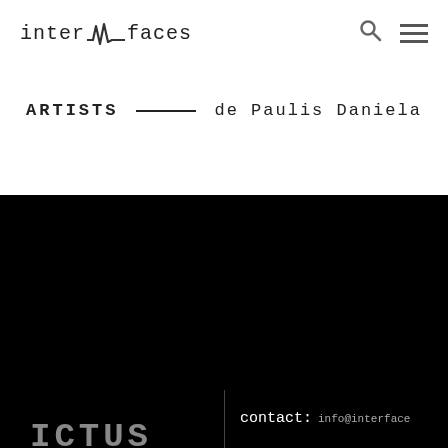inter|faces  [search] [menu]
ARTISTS — de Paulis Daniela
ICTUS
Q.O2
[Figure (logo): De Montfort University Leicester logo with lion emblem]
contact: info@interface
newsletter  your em[ail]
follow us:
[Figure (infographic): Social media icons: Facebook, Instagram, YouTube, Twitter, SoundCloud]